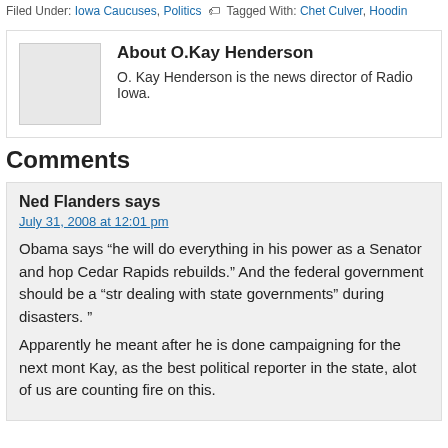Filed Under: Iowa Caucuses, Politics   Tagged With: Chet Culver, Hoodin
About O.Kay Henderson
O. Kay Henderson is the news director of Radio Iowa.
Comments
Ned Flanders says
July 31, 2008 at 12:01 pm
Obama says “he will do everything in his power as a Senator and hop Cedar Rapids rebuilds.” And the federal government should be a “str dealing with state governments” during disasters. ”
Apparently he meant after he is done campaigning for the next mont Kay, as the best political reporter in the state, alot of us are counting fire on this.